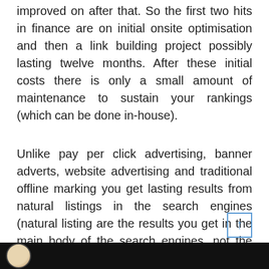improved on after that. So the first two hits in finance are on initial onsite optimisation and then a link building project possibly lasting twelve months. After these initial costs there is only a small amount of maintenance to sustain your rankings (which can be done in-house).
Unlike pay per click advertising, banner adverts, website advertising and traditional offline marking you get lasting results from natural listings in the search engines (natural listing are the results you get in the main body of the search engines, not the sponsored links that may exist at the top, side and/or bottom of the search engines).
[Figure (photo): Dark strip at bottom of page with a partial circular portrait photo visible on the left side]